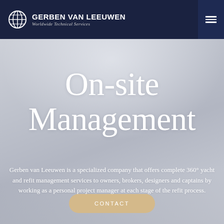GERBEN VAN LEEUWEN — Worldwide Technical Services
On-site Management
Gerben van Leeuwen is a specialized company that offers complete 360° yacht and refit management services to owners, brokers, designers and captains by working as a personal project manager at each stage of the refit process.
[Figure (other): Rounded pill-shaped contact button with beige/tan background and white text reading CONTACT]